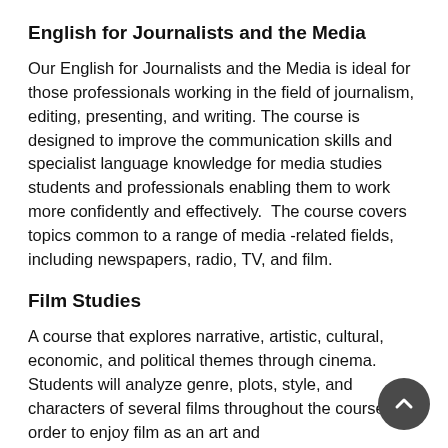English for Journalists and the Media
Our English for Journalists and the Media is ideal for those professionals working in the field of journalism, editing, presenting, and writing. The course is designed to improve the communication skills and specialist language knowledge for media studies students and professionals enabling them to work more confidently and effectively.  The course covers topics common to a range of media -related fields, including newspapers, radio, TV, and film.
Film Studies
A course that explores narrative, artistic, cultural, economic, and political themes through cinema. Students will analyze genre, plots, style, and characters of several films throughout the course in order to enjoy film as an art and entertainment form.